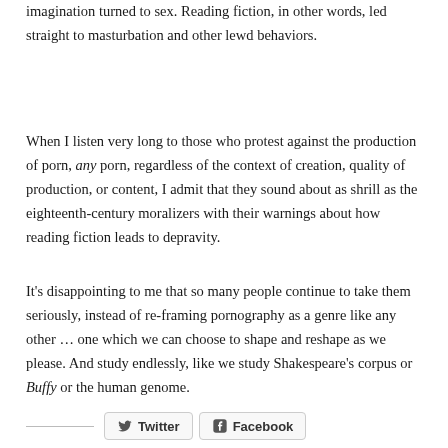imagination turned to sex. Reading fiction, in other words, led straight to masturbation and other lewd behaviors.
When I listen very long to those who protest against the production of porn, any porn, regardless of the context of creation, quality of production, or content, I admit that they sound about as shrill as the eighteenth-century moralizers with their warnings about how reading fiction leads to depravity.
It's disappointing to me that so many people continue to take them seriously, instead of re-framing pornography as a genre like any other … one which we can choose to shape and reshape as we please. And study endlessly, like we study Shakespeare's corpus or Buffy or the human genome.
Twitter Facebook